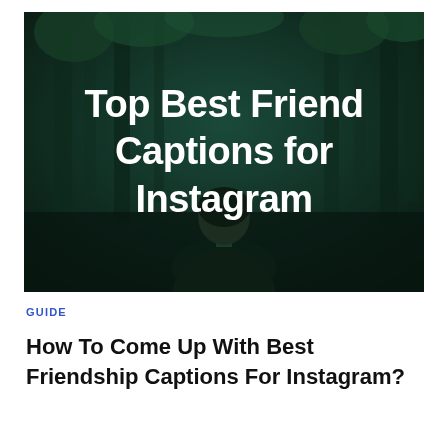[Figure (photo): A dark teal/forest background with a person seen from behind, with bold white text reading 'Top Best Friend Captions for Instagram']
GUIDE
How To Come Up With Best Friendship Captions For Instagram?